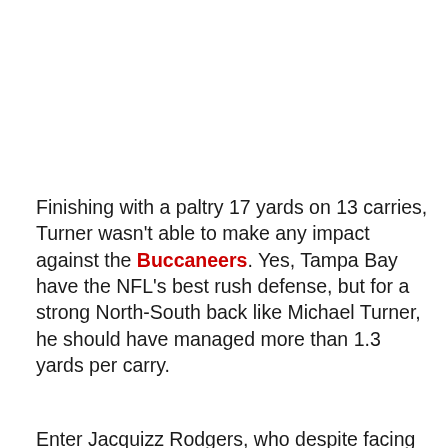Finishing with a paltry 17 yards on 13 carries, Turner wasn't able to make any impact against the Buccaneers. Yes, Tampa Bay have the NFL's best rush defense, but for a strong North-South back like Michael Turner, he should have managed more than 1.3 yards per carry.
Enter Jacquizz Rodgers, who despite facing the same defense, has his coming out party. Falcons fans have been waiting all season to see if Rodgers could be their RB of the future, and despite having some flashes, overall he didn't look like a three down back. Today was a different story, and represented a sea-change in the offensive scheming for Atlanta. Rodgers